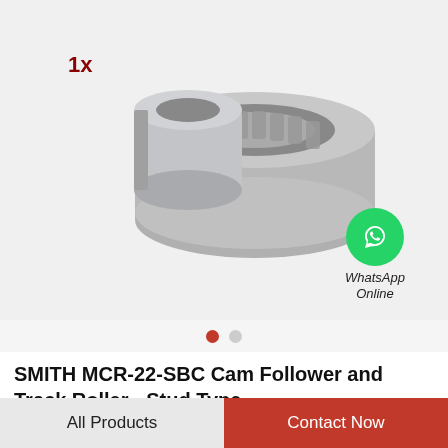[Figure (photo): Product photo showing a tapered roller bearing set (cone and cup) with '1x' quantity label in dark red. Two metallic gray bearing components shown against white/light gray background.]
WhatsApp Online
SMITH MCR-22-SBC Cam Follower and Track Roller - Stud Type
All Products
Contact Now